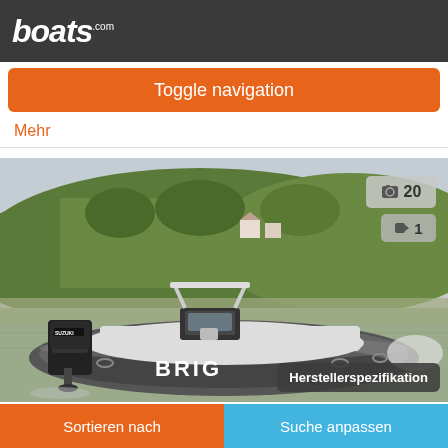boats.com
Toggle navigation
Mehr
[Figure (photo): A BRIG inflatable RIB boat with a Suzuki outboard motor on calm water, with green hills in the background. Photo count badge showing 20 photos and 1 video. Herstellerspezifikation button in bottom right.]
Sortieren nach
Suche anpassen